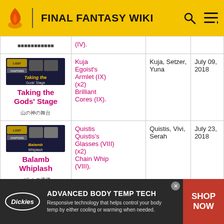FINAL FANTASY WIKI
| Event | Rewards | Characters | Date |
| --- | --- | --- | --- |
| [Japanese text] | (IV). |  |  |
| Taking the Gods' Stage [Japanese] | Kuja Egoist's Armlet (IX) (x2) Brilliant Cores (IX). | Kuja, Setzer, Yuna | July 09, 2018 |
| Balamb Whiplash [Japanese] | Quistis Quistis's Glasses (VIII) (x2) Chain Whip (VIII). | Quistis, Vivi, Serah | July 23, 2018 |
[Figure (infographic): Dickies advertisement banner: ADVANCED BODY TEMP TECH - Responsive technology that helps control your body temp by either cooling or warming when needed. SHOP NOW]